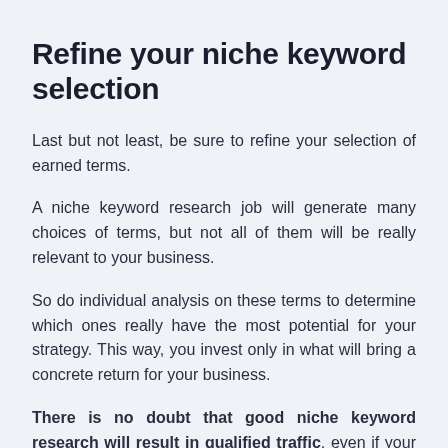Refine your niche keyword selection
Last but not least, be sure to refine your selection of earned terms.
A niche keyword research job will generate many choices of terms, but not all of them will be really relevant to your business.
So do individual analysis on these terms to determine which ones really have the most potential for your strategy. This way, you invest only in what will bring a concrete return for your business.
There is no doubt that good niche keyword research will result in qualified traffic, even if your product or service is unusual.